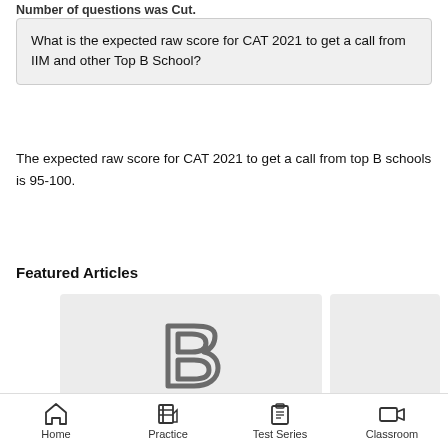Number of questions was Cut.
What is the expected raw score for CAT 2021 to get a call from IIM and other Top B School?
The expected raw score for CAT 2021 to get a call from top B schools is 95-100.
Featured Articles
[Figure (screenshot): Article thumbnail card showing a stylized letter B logo (Exambees brand logo) on a light grey background, with partial text 'EXAMBEES' at the bottom]
[Figure (screenshot): Partial article thumbnail card on the right side, grey background, content not visible]
Home   Practice   Test Series   Classroom